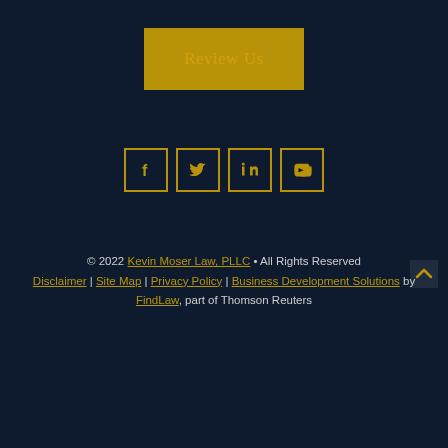[Figure (other): Golden 'Review Us' button on a dark navy background]
[Figure (other): Row of four social media icon buttons (Facebook, Twitter, LinkedIn, YouTube) with gold borders on dark navy background]
© 2022 Kevin Moser Law, PLLC • All Rights Reserved
Disclaimer | Site Map | Privacy Policy | Business Development Solutions by FindLaw, part of Thomson Reuters